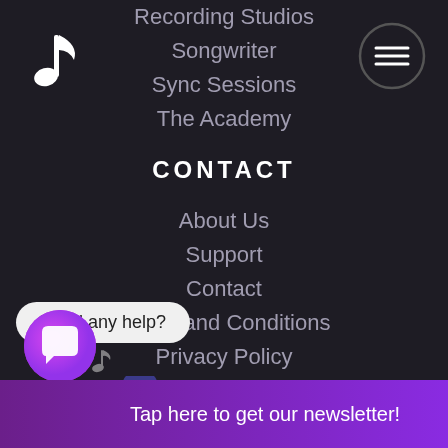[Figure (logo): White musical note icon in top-left corner]
[Figure (other): Hamburger/menu icon inside a dark circle, top-right corner]
Recording Studios
Songwriter
Sync Sessions
The Academy
CONTACT
About Us
Support
Contact
Terms and Conditions
Privacy Policy
Need any help?
[Figure (other): Purple chat bubble icon button at bottom-left]
Tap here to get our newsletter!